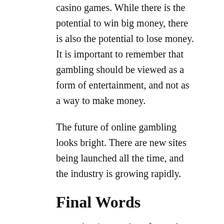casino games. While there is the potential to win big money, there is also the potential to lose money. It is important to remember that gambling should be viewed as a form of entertainment, and not as a way to make money.
The future of online gambling looks bright. There are new sites being launched all the time, and the industry is growing rapidly.
Final Words
sports betting can be a fun and exciting way to add some excitement to your favorite sports events. However, it is important to remember that sports betting is also a risky investment, so please gamble responsibly. If you are new to sports betting, I recommend starting out by betting on